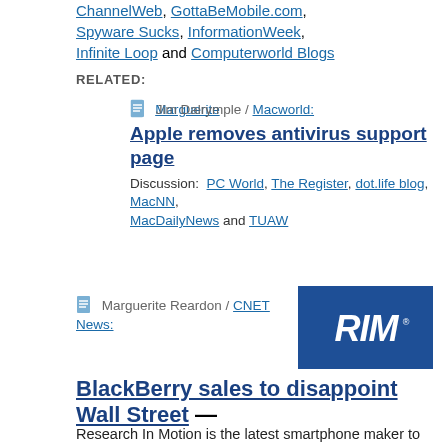ChannelWeb, GottaBeMobile.com, Spyware Sucks, InformationWeek, Infinite Loop and Computerworld Blogs
RELATED:
Jim Dalrymple / Macworld: Apple removes antivirus support page — Discussion: PC World, The Register, dot.life blog, MacNN, MacDailyNews and TUAW
[Figure (logo): RIM (Research In Motion) logo on dark blue background]
Marguerite Reardon / CNET News:
BlackBerry sales to disappoint Wall Street
Research In Motion is the latest smartphone maker to fall victim to the sagging economy.  —  The maker of the popular BlackBerry mobile devices late on Tuesday reduced its outlook for its fiscal third quarter, which ended on Saturday.
Discussion:  Tech Check with Jim Goldman